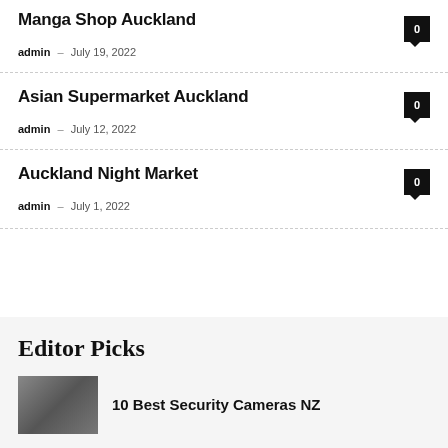Manga Shop Auckland
admin – July 19, 2022
Asian Supermarket Auckland
admin – July 12, 2022
Auckland Night Market
admin – July 1, 2022
Editor Picks
10 Best Security Cameras NZ